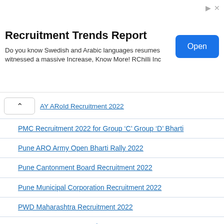[Figure (screenshot): Advertisement banner for Recruitment Trends Report by RChilli Inc with an Open button]
AY ARoId Recruitment 2022
PMC Recruitment 2022 for Group 'C' Group 'D' Bharti
Pune ARO Army Open Bharti Rally 2022
Pune Cantonment Board Recruitment 2022
Pune Municipal Corporation Recruitment 2022
PWD Maharashtra Recruitment 2022
RARIMCH Nagpur Recruitment 2022
SCI Mumbai Recruitment 2022